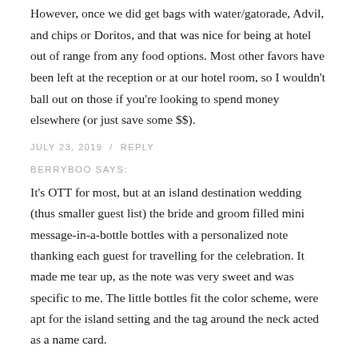However, once we did get bags with water/gatorade, Advil, and chips or Doritos, and that was nice for being at hotel out of range from any food options. Most other favors have been left at the reception or at our hotel room, so I wouldn't ball out on those if you're looking to spend money elsewhere (or just save some $$).
JULY 23, 2019 / REPLY
BERRYBOO SAYS:
It's OTT for most, but at an island destination wedding (thus smaller guest list) the bride and groom filled mini message-in-a-bottle bottles with a personalized note thanking each guest for travelling for the celebration. It made me tear up, as the note was very sweet and was specific to me. The little bottles fit the color scheme, were apt for the island setting and the tag around the neck acted as a name card.